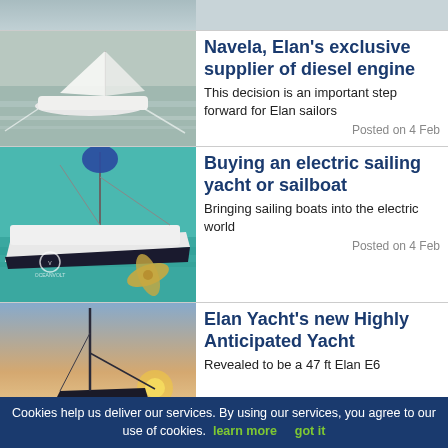[Figure (photo): Partial top row showing a cropped sailing image on the left]
[Figure (photo): Sailing yacht on calm water viewed from above]
Navela, Elan's exclusive supplier of diesel engine
This decision is an important step forward for Elan sailors
Posted on 4 Feb
[Figure (photo): Electric sailing yacht with propeller visible, OceanVolt branded]
Buying an electric sailing yacht or sailboat
Bringing sailing boats into the electric world
Posted on 4 Feb
[Figure (photo): Sailing yacht mast silhouette against sunset sky]
Elan Yacht's new Highly Anticipated Yacht
Revealed to be a 47 ft Elan E6
Cookies help us deliver our services. By using our services, you agree to our use of cookies. learn more   got it